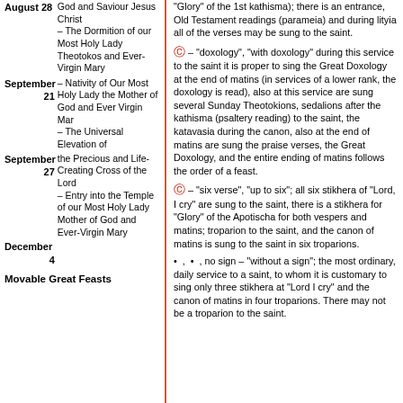| Date | Feast |
| --- | --- |
| August 28 | God and Saviour Jesus Christ – The Dormition of our Most Holy Lady Theotokos and Ever-Virgin Mary |
| September 21 | – Nativity of Our Most Holy Lady the Mother of God and Ever Virgin Mar – The Universal Elevation of |
| September 27 | the Precious and Life-Creating Cross of the Lord – Entry into the Temple of our Most Holy Lady Mother of God and Ever-Virgin Mary |
| December 4 |  |
| Movable Great Feasts |  |
"Glory" of the 1st kathisma); there is an entrance, Old Testament readings (parameia) and during lityia all of the verses may be sung to the saint.
– "doxology", "with doxology" during this service to the saint it is proper to sing the Great Doxology at the end of matins (in services of a lower rank, the doxology is read), also at this service are sung several Sunday Theotokions, sedalions after the kathisma (psaltery reading) to the saint, the katavasia during the canon, also at the end of matins are sung the praise verses, the Great Doxology, and the entire ending of matins follows the order of a feast.
– "six verse", "up to six"; all six stikhera of "Lord, I cry" are sung to the saint, there is a stikhera for "Glory" of the Apotischa for both vespers and matins; troparion to the saint, and the canon of matins is sung to the saint in six troparions.
•  ,  •  , no sign – "without a sign"; the most ordinary, daily service to a saint, to whom it is customary to sing only three stikhera at "Lord I cry" and the canon of matins in four troparions. There may not be a troparion to the saint.